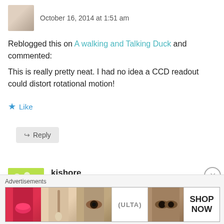October 16, 2014 at 1:51 am
Reblogged this on A walking and Talking Duck and commented:
This is really pretty neat. I had no idea a CCD readout could distort rotational motion!
Like
Reply
kishore
October 16, 2014 at 12:30 pm
Advertisements
[Figure (photo): Ulta beauty advertisement banner showing makeup products and models]